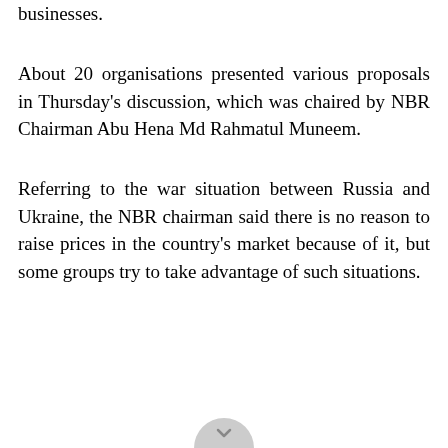businesses.
About 20 organisations presented various proposals in Thursday's discussion, which was chaired by NBR Chairman Abu Hena Md Rahmatul Muneem.
Referring to the war situation between Russia and Ukraine, the NBR chairman said there is no reason to raise prices in the country's market because of it, but some groups try to take advantage of such situations.